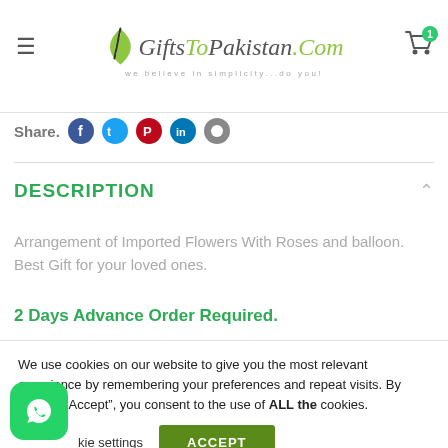GiftsToPakistan.Com — we believe in simplicity...do you!
Share:
DESCRIPTION
Arrangement of Imported Flowers With Roses and balloon. Best Gift for your loved ones.
2 Days Advance Order Required.
We use cookies on our website to give you the most relevant experience by remembering your preferences and repeat visits. By clicking "Accept", you consent to the use of ALL the cookies.